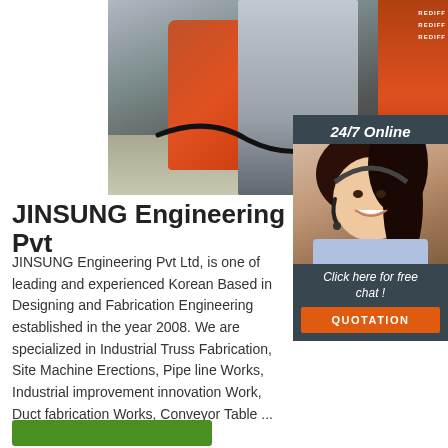[Figure (photo): A worker in grey overalls operating an orange industrial grinding/cutting machine on a concrete floor, with orange equipment boxes visible on the right side.]
JINSUNG Engineering Pvt
JINSUNG Engineering Pvt Ltd, is one of leading and experienced Korean Based in Designing and Fabrication Engineering established in the year 2008. We are specialized in Industrial Truss Fabrication, Site Machine Erections, Pipe line Works, Industrial improvement innovation Work, Duct fabrication Works, Conveyor Table ...
[Figure (infographic): 24/7 Online support widget with a photo of a smiling woman with a headset, text 'Click here for free chat!' and an orange QUOTATION button.]